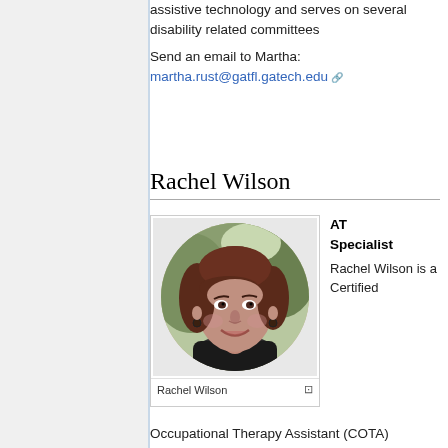assistive technology and serves on several disability related committees
Send an email to Martha:
martha.rust@gatfl.gatech.edu
Rachel Wilson
[Figure (photo): Circular cropped portrait photo of Rachel Wilson, a woman with dark reddish-brown hair, smiling, with a blurred outdoor background]
Rachel Wilson
AT Specialist
Rachel Wilson is a Certified
Occupational Therapy Assistant (COTA)